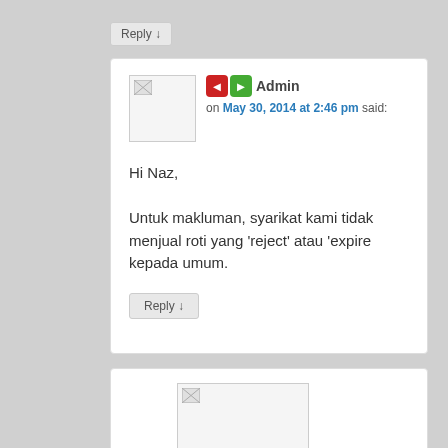Reply ↓
Admin on May 30, 2014 at 2:46 pm said:
Hi Naz,

Untuk makluman, syarikat kami tidak menjual roti yang 'reject' atau 'expire kepada umum.
Reply ↓
[Figure (screenshot): Partial comment card with avatar image placeholder and vote buttons]